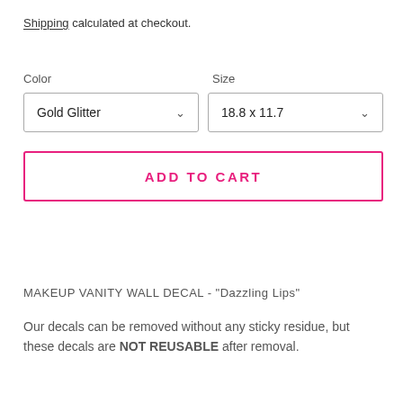Shipping calculated at checkout.
Color
Size
Gold Glitter
18.8 x 11.7
ADD TO CART
MAKEUP VANITY WALL DECAL - "Dazzling Lips"
Our decals can be removed without any sticky residue, but these decals are NOT REUSABLE after removal.